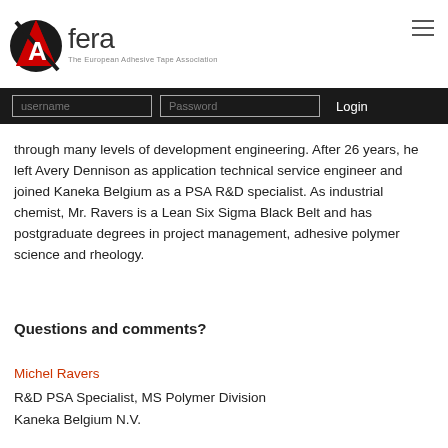[Figure (logo): Afera logo - The European Adhesive Tape Association, with stylized black and red circle with letter A]
through many levels of development engineering. After 26 years, he left Avery Dennison as application technical service engineer and joined Kaneka Belgium as a PSA R&D specialist. As industrial chemist, Mr. Ravers is a Lean Six Sigma Black Belt and has postgraduate degrees in project management, adhesive polymer science and rheology.
Questions and comments?
Michel Ravers
R&D PSA Specialist, MS Polymer Division
Kaneka Belgium N.V.